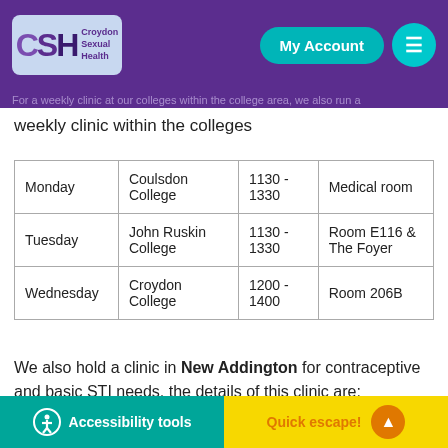Croydon Sexual Health — My Account
weekly clinic within the colleges
|  |  |  |  |
| --- | --- | --- | --- |
| Monday | Coulsdon College | 1130 - 1330 | Medical room |
| Tuesday | John Ruskin College | 1130 - 1330 | Room E116 & The Foyer |
| Wednesday | Croydon College | 1200 - 1400 | Room 206B |
We also hold a clinic in New Addington for contraceptive and basic STI needs, the details of this clinic are:
Accessibility tools   Quick escape!